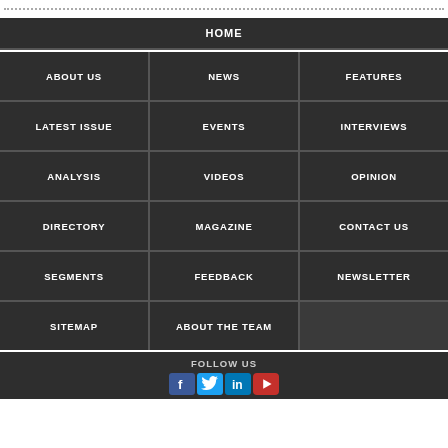[Figure (screenshot): Dotted horizontal line at the top of the page]
HOME
ABOUT US
NEWS
FEATURES
LATEST ISSUE
EVENTS
INTERVIEWS
ANALYSIS
VIDEOS
OPINION
DIRECTORY
MAGAZINE
CONTACT US
SEGMENTS
FEEDBACK
NEWSLETTER
SITEMAP
ABOUT THE TEAM
FOLLOW US
[Figure (infographic): Social media icons: Facebook, Twitter, LinkedIn, YouTube]